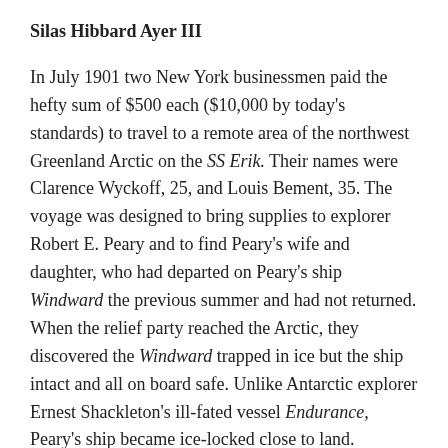Silas Hibbard Ayer III
In July 1901 two New York businessmen paid the hefty sum of $500 each ($10,000 by today's standards) to travel to a remote area of the northwest Greenland Arctic on the SS Erik. Their names were Clarence Wyckoff, 25, and Louis Bement, 35. The voyage was designed to bring supplies to explorer Robert E. Peary and to find Peary's wife and daughter, who had departed on Peary's ship Windward the previous summer and had not returned. When the relief party reached the Arctic, they discovered the Windward trapped in ice but the ship intact and all on board safe. Unlike Antarctic explorer Ernest Shackleton's ill-fated vessel Endurance, Peary's ship became ice-locked close to land. Consequently the passengers and crew easily walked back and forth on the ice to shore, where a community of Inuit helped to provide them with food and warm clothing. The Windward and the Erik sailed back together to America in August 1901.
A century after Wyckoff and Bement's voyage, their descendants